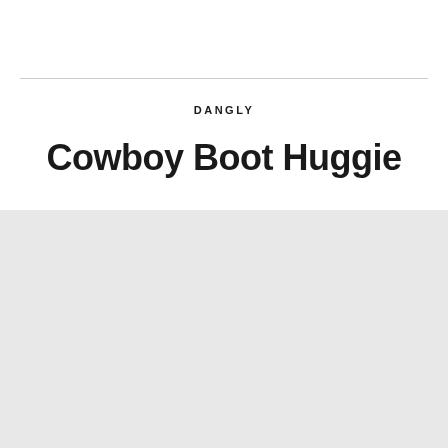DANGLY
Cowboy Boot Huggie
[Figure (other): Light gray background area filling the lower half of the page]